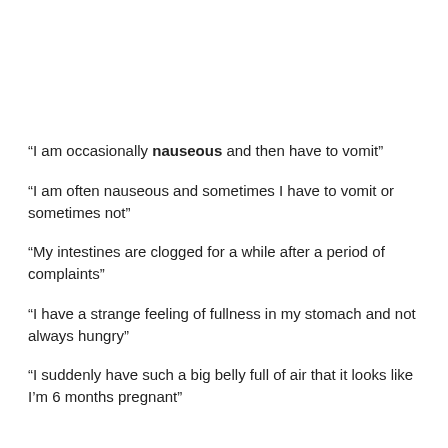“I am occasionally nauseous and then have to vomit”
“I am often nauseous and sometimes I have to vomit or sometimes not”
“My intestines are clogged for a while after a period of complaints”
“I have a strange feeling of fullness in my stomach and not always hungry”
“I suddenly have such a big belly full of air that it looks like I’m 6 months pregnant”